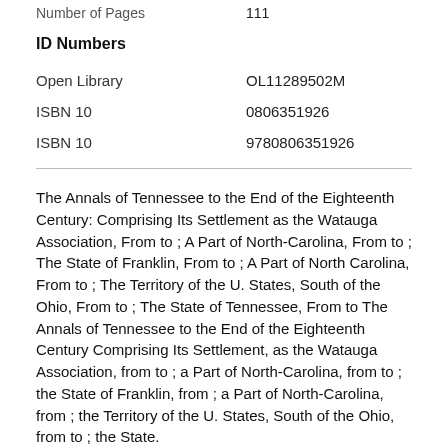Number of Pages     111
ID Numbers
|  |  |
| --- | --- |
| Open Library | OL11289502M |
| ISBN 10 | 0806351926 |
| ISBN 10 | 9780806351926 |
The Annals of Tennessee to the End of the Eighteenth Century: Comprising Its Settlement as the Watauga Association, From to ; A Part of North-Carolina, From to ; The State of Franklin, From to ; A Part of North Carolina, From to ; The Territory of the U. States, South of the Ohio, From to ; The State of Tennessee, From to The Annals of Tennessee to the End of the Eighteenth Century Comprising Its Settlement, as the Watauga Association, from to ; a Part of North-Carolina, from to ; the State of Franklin, from ; a Part of North-Carolina, from ; the Territory of the U. States, South of the Ohio, from to ; the State.
Bibliographic Citation. Ramsey, J. G. M. The annals of Tennessee to the end of the eighteenth century: comprising its settlement: as the Watauga Association, from to ; a part of North-Carolina, from to ; the state of Franklin, from ; a part of North-Carolina, from ; the territory of the U. States, south of the Ohio, from to ; the state. Original First Edition of the Historic Antique Book "The Annals of Tennessee to the End of the Eighteenth Century:" by J. G. M. Ramsey, A.M., M.D. | Published Charleston: John Russell, Viii, pp. 1st Edition | Includes the